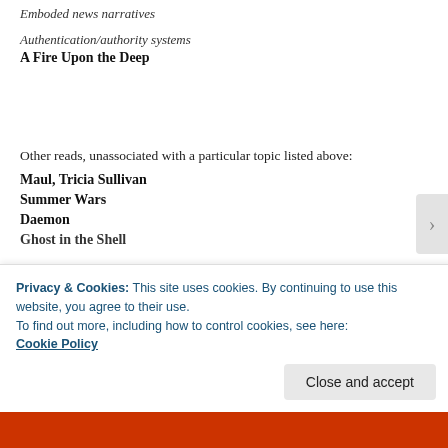Emboded news narratives
Authentication/authority systems
A Fire Upon the Deep
Other reads, unassociated with a particular topic listed above:
Maul, Tricia Sullivan
Summer Wars
Daemon
Ghost in the Shell
Privacy & Cookies: This site uses cookies. By continuing to use this website, you agree to their use.
To find out more, including how to control cookies, see here: Cookie Policy
Close and accept